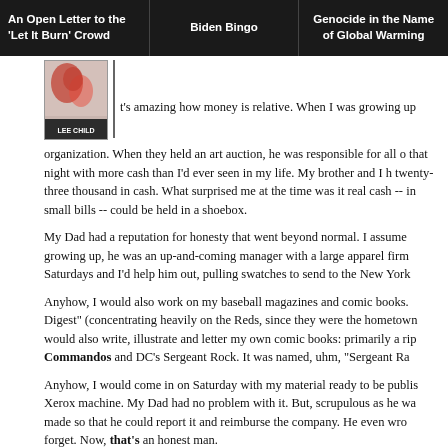An Open Letter to the 'Let It Burn' Crowd | Biden Bingo | Genocide in the Name of Global Warming
[Figure (photo): Book cover image for a Lee Child novel with red graphic design elements and author name 'LEE CHILD' at bottom]
t's amazing how money is relative. When I was growing up
organization. When they held an art auction, he was responsible for all o... that night with more cash than I'd ever seen in my life. My brother and I h... twenty-three thousand in cash. What surprised me at the time was it rea... cash -- in small bills -- could be held in a shoebox.
My Dad had a reputation for honesty that went beyond normal. I assume... growing up, he was an up-and-coming manager with a large apparel firm... Saturdays and I'd help him out, pulling swatches to send to the New York
Anyhow, I would also work on my baseball magazines and comic books. Digest" (concentrating heavily on the Reds, since they were the hometown would also write, illustrate and letter my own comic books: primarily a rip Commandos and DC's Sergeant Rock. It was named, uhm, "Sergeant Ra
Anyhow, I would come in on Saturday with my material ready to be publis Xerox machine. My Dad had no problem with it. But, scrupulous as he wa made so that he could report it and reimburse the company. He even wro forget. Now, that's an honest man.
Years later, he became President of the company and I don't think he ne